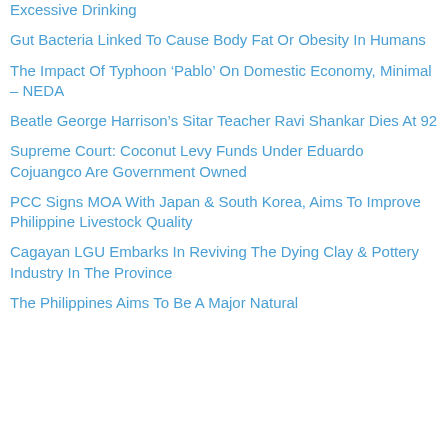Excessive Drinking
Gut Bacteria Linked To Cause Body Fat Or Obesity In Humans
The Impact Of Typhoon ‘Pablo’ On Domestic Economy, Minimal – NEDA
Beatle George Harrison’s Sitar Teacher Ravi Shankar Dies At 92
Supreme Court: Coconut Levy Funds Under Eduardo Cojuangco Are Government Owned
PCC Signs MOA With Japan & South Korea, Aims To Improve Philippine Livestock Quality
Cagayan LGU Embarks In Reviving The Dying Clay & Pottery Industry In The Province
The Philippines Aims To Be A Major Natural